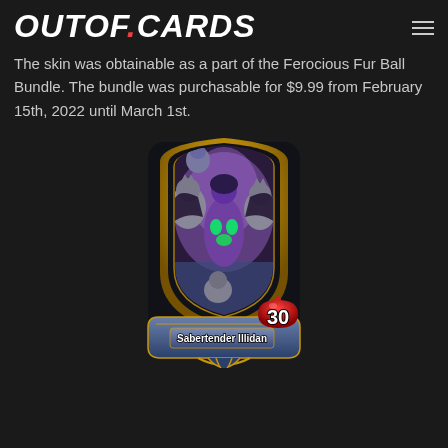OUTOF.CARDS
The skin was obtainable as a part of the Ferocious Fur Ball Bundle. The bundle was purchasable for $9.99 from February 15th, 2022 until March 1st.
[Figure (illustration): Hearthstone hero card for 'Sabertender Illidan' showing a purple demon hunter character surrounded by large cats, in a gold arch-shaped card frame with 30 health]
Sabertender Illidan